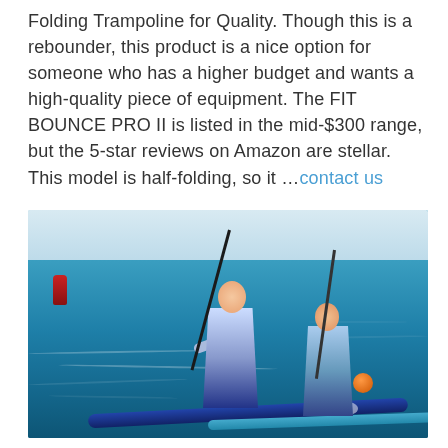Folding Trampoline for Quality. Though this is a rebounder, this product is a nice option for someone who has a higher budget and wants a high-quality piece of equipment. The FIT BOUNCE PRO II is listed in the mid-$300 range, but the 5-star reviews on Amazon are stellar. This model is half-folding, so it …contact us
[Figure (photo): Two athletes stand-up paddleboarding on choppy blue ocean water, wearing wetsuits and holding paddles. A red buoy marker is visible on the left, and an orange buoy on the right.]